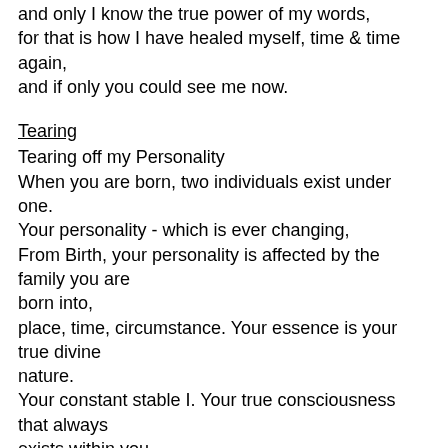and only I know the true power of my words,
for that is how I have healed myself, time & time again,
and if only you could see me now.
Tearing
Tearing off my Personality
When you are born, two individuals exist under one.
Your personality - which is ever changing,
From Birth, your personality is affected by the family you are born into,
place, time, circumstance. Your essence is your true divine nature.
Your constant stable I. Your true consciousness that always exists within you.
From Birth we are taught to suppress this.
Our divine, all encompassing, unconditionally loving nature until
we all become truly mechanical beings without any sense of ourselves but falsehood.
Tear off your personality!
Tear off your false ideals!
Humans may say they like something one day, then the next